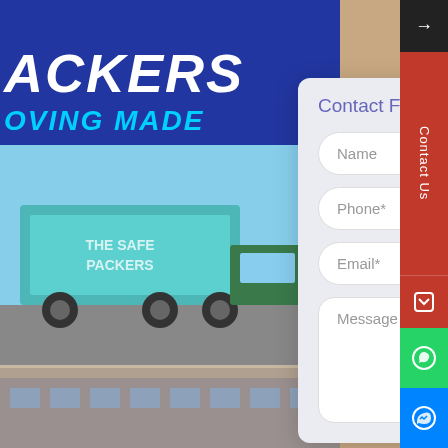[Figure (screenshot): Website screenshot showing The Safe Packers logo with blue background and cyan tagline text, truck transport images on the left side, and an overlaid contact form modal with fields for Name, Phone*, Email*, and Message]
Contact Form
Name
Phone*
Email*
Message